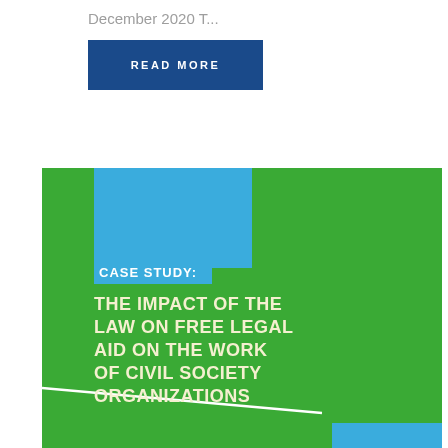December 2020 T...
READ MORE
[Figure (illustration): Case study document cover image with green background, blue accent rectangle at top, white diagonal line, and text reading 'CASE STUDY: THE IMPACT OF THE LAW ON FREE LEGAL AID ON THE WORK OF CIVIL SOCIETY ORGANIZATIONS']